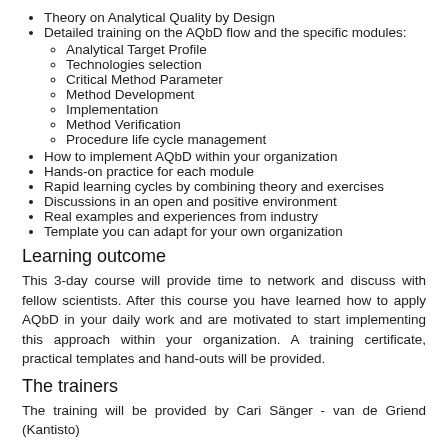Theory on Analytical Quality by Design
Detailed training on the AQbD flow and the specific modules:
Analytical Target Profile
Technologies selection
Critical Method Parameter
Method Development
Implementation
Method Verification
Procedure life cycle management
How to implement AQbD within your organization
Hands-on practice for each module
Rapid learning cycles by combining theory and exercises
Discussions in an open and positive environment
Real examples and experiences from industry
Template you can adapt for your own organization
Learning outcome
This 3-day course will provide time to network and discuss with fellow scientists. After this course you have learned how to apply AQbD in your daily work and are motivated to start implementing this approach within your organization. A training certificate, practical templates and hand-outs will be provided.
The trainers
The training will be provided by Cari Sänger - van de Griend (Kantisto)